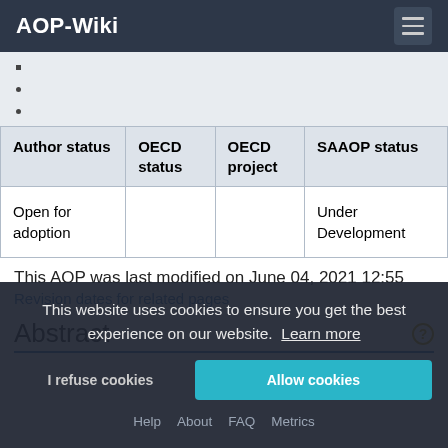AOP-Wiki
•
•
•
| Author status | OECD status | OECD project | SAAOP status |
| --- | --- | --- | --- |
| Open for adoption |  |  | Under Development |
This AOP was last modified on June 04, 2021 12:55
Revision dates for related pages
Abstract
This website uses cookies to ensure you get the best experience on our website.  Learn more
I refuse cookies   Allow cookies   Help  About  FAQ  Metrics